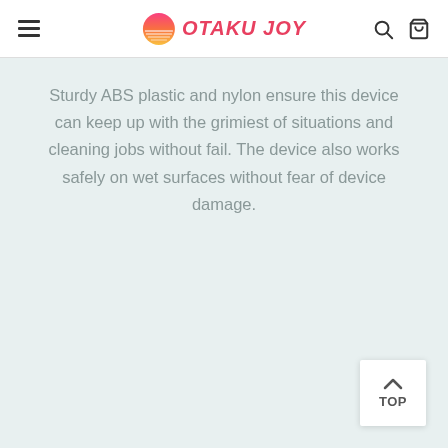OTAKU JOY
Sturdy ABS plastic and nylon ensure this device can keep up with the grimiest of situations and cleaning jobs without fail. The device also works safely on wet surfaces without fear of device damage.